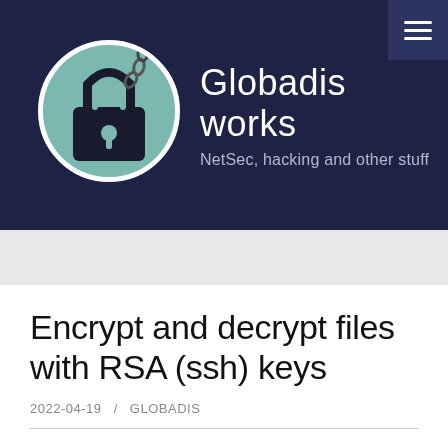Globadis works — NetSec, hacking and other stuff
[Figure (logo): Circular logo with a padlock image on teal/dark background]
Encrypt and decrypt files with RSA (ssh) keys
2022-04-19  /  GLOBADIS
Sometimes, I may need to send some file to some coworker over an insecure channel (e-mail) or